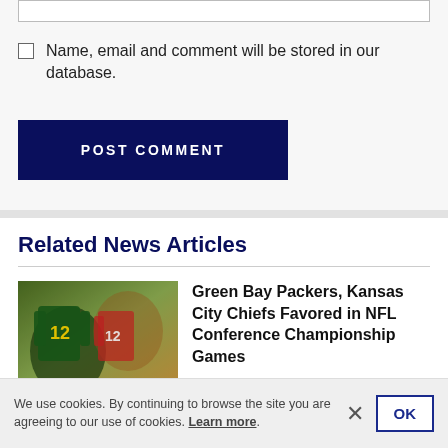Name, email and comment will be stored in our database.
POST COMMENT
Related News Articles
[Figure (photo): Football players on field, player #12 in green and gold Green Bay Packers jersey visible]
Green Bay Packers, Kansas City Chiefs Favored in NFL Conference Championship Games
Bill Huber — January 24, 2021
We use cookies. By continuing to browse the site you are agreeing to our use of cookies. Learn more.